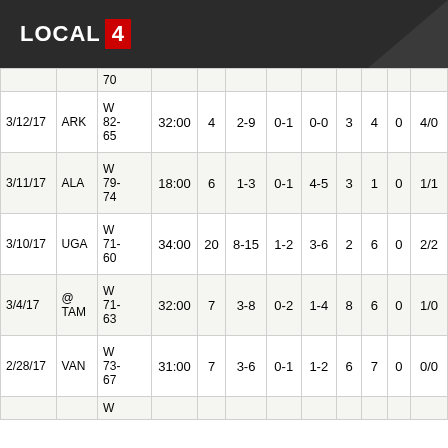LOCAL 4
| Date | Opp | Result | Min | Pts | FG | 3P | FT | Reb | Ast | Blk | Stl/TO |
| --- | --- | --- | --- | --- | --- | --- | --- | --- | --- | --- | --- |
|  |  | 70 |  |  |  |  |  |  |  |  |  |
| 3/12/17 | ARK | W 82-65 | 32:00 | 4 | 2-9 | 0-1 | 0-0 | 3 | 4 | 0 | 4/0 |
| 3/11/17 | ALA | W 79-74 | 18:00 | 6 | 1-3 | 0-1 | 4-5 | 3 | 1 | 0 | 1/1 |
| 3/10/17 | UGA | W 71-60 | 34:00 | 20 | 8-15 | 1-2 | 3-6 | 2 | 6 | 0 | 2/2 |
| 3/4/17 | @ TAM | W 71-63 | 32:00 | 7 | 3-8 | 0-2 | 1-4 | 8 | 6 | 0 | 1/0 |
| 2/28/17 | VAN | W 73-67 | 31:00 | 7 | 3-6 | 0-1 | 1-2 | 6 | 7 | 0 | 0/0 |
|  |  | W |  |  |  |  |  |  |  |  |  |